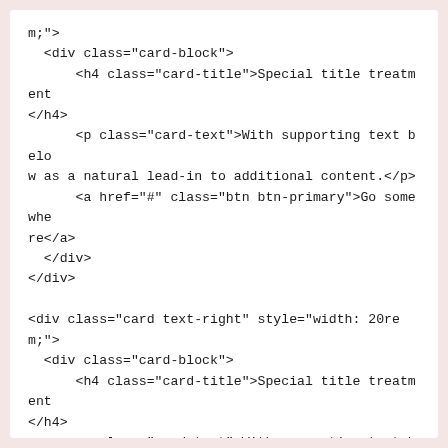m;">
  <div class="card-block">
      <h4 class="card-title">Special title treatment
</h4>
      <p class="card-text">With supporting text belo
w as a natural lead-in to additional content.</p>
      <a href="#" class="btn btn-primary">Go somewhe
re</a>
  </div>
</div>

<div class="card text-right" style="width: 20re
m;">
  <div class="card-block">
      <h4 class="card-title">Special title treatment
</h4>
      <p class="card-text">With supporting text belo
w as a natural lead-in to additional content.</p>
      <a href="#" class="btn btn-primary">Go somewhe
re</a>
  </div>
</div>